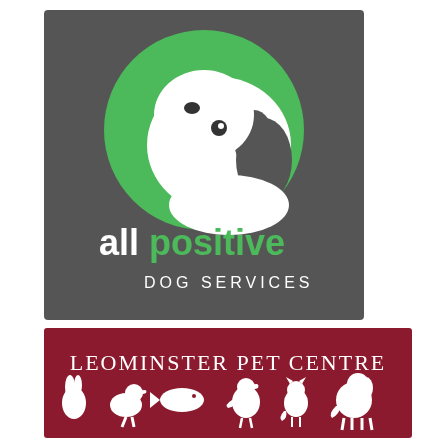[Figure (logo): All Positive Dog Services logo: dark grey square background with a large green circle containing a white cartoon dog head (looking up, with a dark ear). Below the circle in white and green text: 'all' in white, 'positive' in green, and 'DOG SERVICES' in white spaced letters.]
[Figure (logo): Leominster Pet Centre logo: dark red/maroon rectangular banner with 'LEOMINSTER PET CENTRE' in white serif text with small caps, and a row of white animal silhouettes below (rabbit, goose/duck, fish, bird/fowl, cat, small cat, dog).]